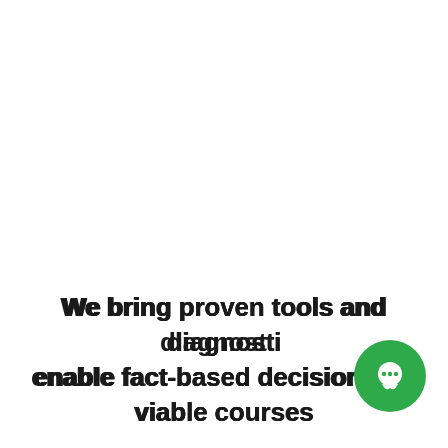We bring proven tools and diagnostic enable fact-based decisions on viable courses
[Figure (illustration): Green circular chat bubble icon with a small white speech bubble symbol in the center, positioned at the bottom-right corner overlapping the text.]